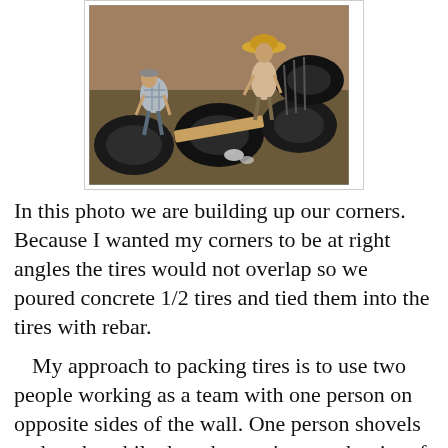[Figure (photo): Two workers building up corners of a tire wall, packing tires with dirt/concrete, one wearing a plaid shirt and one wearing a straw hat, surrounded by tires partially buried in the ground.]
In this photo we are building up our corners. Because I wanted my corners to be at right angles the tires would not overlap so we poured concrete 1/2 tires and tied them into the tires with rebar.
My approach to packing tires is to use two people working as a team with one person on opposite sides of the wall. One person shovels and packs while the other pry's open the rim of the REU with a pick axe.